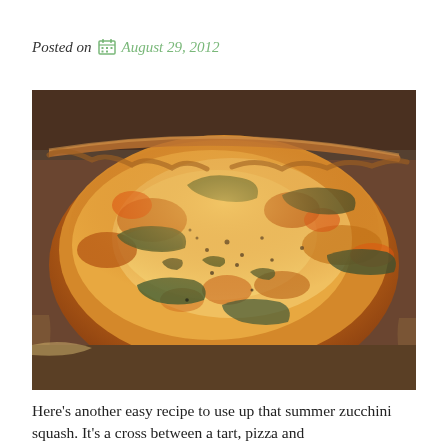Posted on  August 29, 2012
[Figure (photo): Close-up photo of a baked zucchini tart or quiche with melted cheese on top, showing sliced zucchini rounds embedded in a golden-brown cheesy filling in a round pan.]
Here’s another easy recipe to use up that summer zucchini squash. It’s a cross between a tart, pizza and